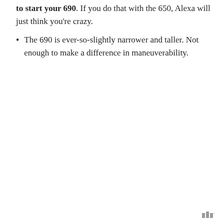to start your 690. If you do that with the 650, Alexa will just think you're crazy.
The 690 is ever-so-slightly narrower and taller. Not enough to make a difference in maneuverability.
W°